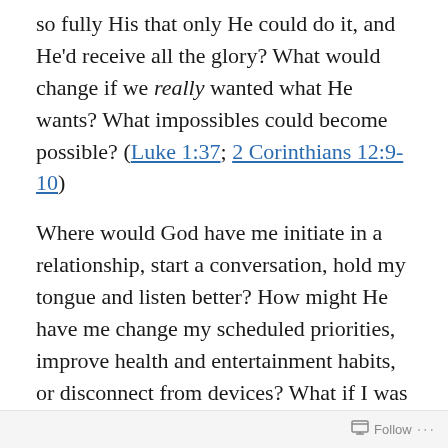so fully His that only He could do it, and He'd receive all the glory? What would change if we really wanted what He wants? What impossibles could become possible? (Luke 1:37; 2 Corinthians 12:9-10)
Where would God have me initiate in a relationship, start a conversation, hold my tongue and listen better? How might He have me change my scheduled priorities, improve health and entertainment habits, or disconnect from devices? What if I was willing, and determined, to stem the flow of bitterness, stop comparing and complaining, forgive from the heart as well as lips? Where might He have
Follow